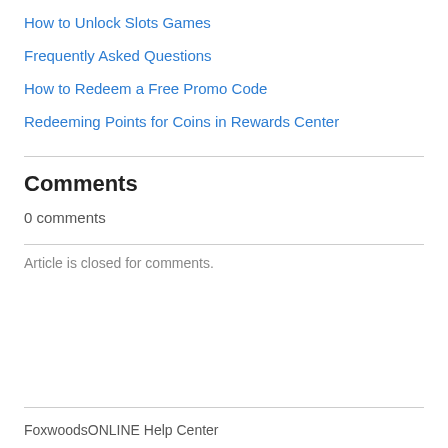How to Unlock Slots Games
Frequently Asked Questions
How to Redeem a Free Promo Code
Redeeming Points for Coins in Rewards Center
Comments
0 comments
Article is closed for comments.
FoxwoodsONLINE Help Center